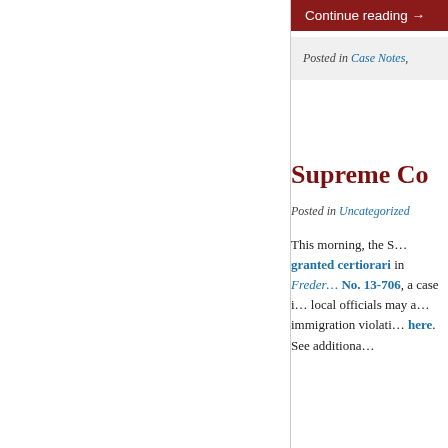Continue reading →
Posted in Case Notes,
Supreme Co…
Posted in Uncategorized
This morning, the S… granted certiorari in Frederick… No. 13-706, a case involving whether local officials may arrest individuals for immigration violations… See additional… here.